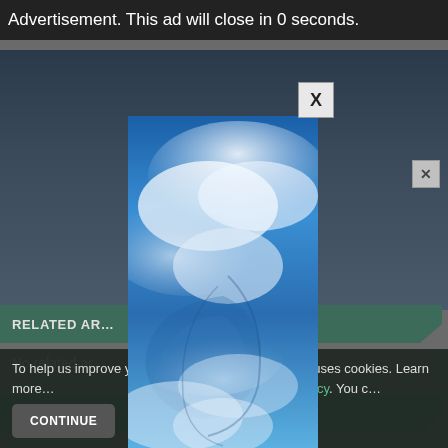Advertisement. This ad will close in 0 seconds.
[Figure (photo): Background webpage content showing a dark photo area at the top]
RELATED AR...
No related ar...
ALERT ME
To help us improve y... his website uses cookies. Learn more... your settings in our Cookie Policy. You c...
[Figure (photo): Modal advertisement popup showing a sky with blue tones and white clouds, vertical/portrait format]